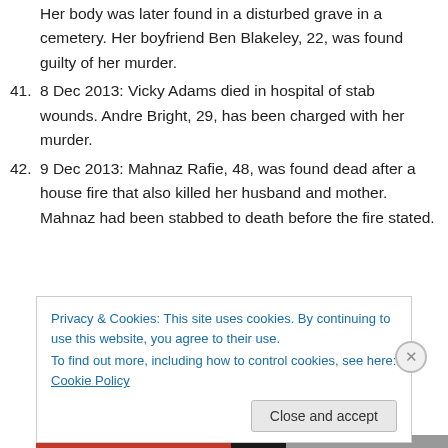40. Her body was later found in a disturbed grave in a cemetery. Her boyfriend Ben Blakeley, 22, was found guilty of her murder.
41. 8 Dec 2013: Vicky Adams died in hospital of stab wounds. Andre Bright, 29, has been charged with her murder.
42. 9 Dec 2013: Mahnaz Rafie, 48, was found dead after a house fire that also killed her husband and mother. Mahnaz had been stabbed to death before the fire stated.
Privacy & Cookies: This site uses cookies. By continuing to use this website, you agree to their use. To find out more, including how to control cookies, see here: Cookie Policy